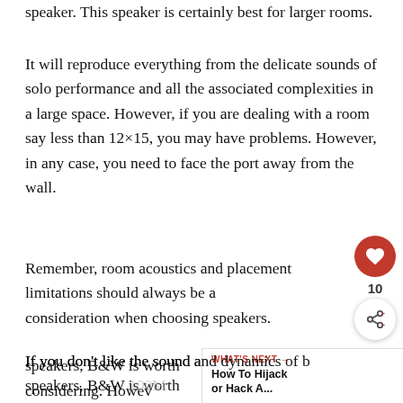speaker. This speaker is certainly best for larger rooms.
It will reproduce everything from the delicate sounds of solo performance and all the associated complexities in a large space. However, if you are dealing with a room say less than 12×15, you may have problems. However, in any case, you need to face the port away from the wall.
Remember, room acoustics and placement limitations should always be a consideration when choosing speakers.
If you don't like the sound and dynamics of b... speakers, B&W is worth considering. Howev... B&W speakers can be on the other end of the